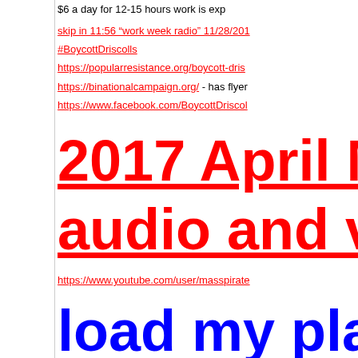$6 a day for 12-15 hours work is exp
skip in 11:56 “work week radio” 11/28/201
#BoycottDriscolls
https://popularresistance.org/boycott-dris
https://binationalcampaign.org/ - has flyer
https://www.facebook.com/BoycottDriscol
2017 April M audio and vi
https://www.youtube.com/user/masspirate
load my play